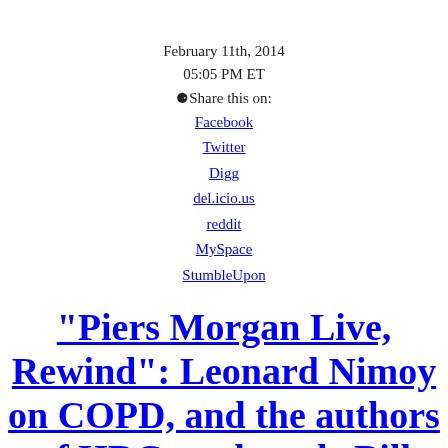February 11th, 2014
05:05 PM ET
🚫Share this on:
Facebook
Twitter
Digg
del.icio.us
reddit
MySpace
StumbleUpon
"Piers Morgan Live, Rewind": Leonard Nimoy on COPD, and the authors of HRC on the role Bill Clinton might play in Hillary's campaign